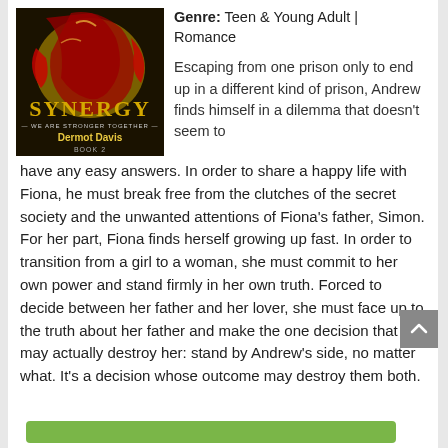[Figure (illustration): Book cover for 'Synergy – We Are Stronger Together' by Dermot Davis, Book 2. Dark background with red dragon-like figure, gold title text 'SYNERGY', subtitle 'WE ARE STRONGER TOGETHER', author name 'Dermot Davis' in yellow, 'BOOK 2' at bottom.]
Genre: Teen & Young Adult | Romance
Escaping from one prison only to end up in a different kind of prison, Andrew finds himself in a dilemma that doesn't seem to have any easy answers. In order to share a happy life with Fiona, he must break free from the clutches of the secret society and the unwanted attentions of Fiona's father, Simon. For her part, Fiona finds herself growing up fast. In order to transition from a girl to a woman, she must commit to her own power and stand firmly in her own truth. Forced to decide between her father and her lover, she must face up to the truth about her father and make the one decision that may actually destroy her: stand by Andrew's side, no matter what. It's a decision whose outcome may destroy them both.